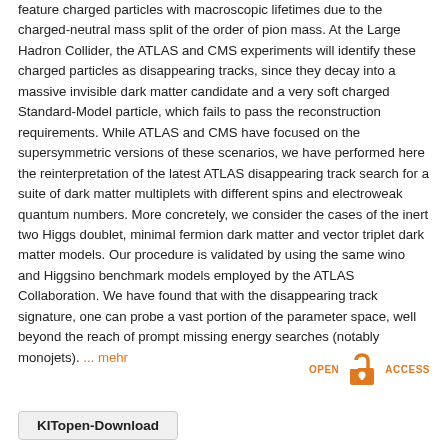feature charged particles with macroscopic lifetimes due to the charged-neutral mass split of the order of pion mass. At the Large Hadron Collider, the ATLAS and CMS experiments will identify these charged particles as disappearing tracks, since they decay into a massive invisible dark matter candidate and a very soft charged Standard-Model particle, which fails to pass the reconstruction requirements. While ATLAS and CMS have focused on the supersymmetric versions of these scenarios, we have performed here the reinterpretation of the latest ATLAS disappearing track search for a suite of dark matter multiplets with different spins and electroweak quantum numbers. More concretely, we consider the cases of the inert two Higgs doublet, minimal fermion dark matter and vector triplet dark matter models. Our procedure is validated by using the same wino and Higgsino benchmark models employed by the ATLAS Collaboration. We have found that with the disappearing track signature, one can probe a vast portion of the parameter space, well beyond the reach of prompt missing energy searches (notably monojets). ... mehr
[Figure (logo): Open Access logo with 'OPEN' and 'ACCESS' text in orange flanking an open padlock icon]
KITopen-Download